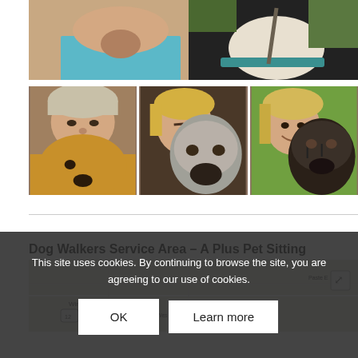[Figure (photo): Wide photo of a woman in a blue top on the left, and a black and white dog on the right with a teal collar]
[Figure (photo): Woman with winter hat cheek-to-cheek with a golden retriever]
[Figure (photo): Blonde woman cheek-to-cheek with a shaggy gray dog]
[Figure (photo): Smiling blonde woman cheek-to-cheek with a dark brindle mastiff-type dog]
Dog Walkers Service Area – A Plus Pet Sitting
[Figure (map): Partial map showing Springfield, Windsor area with pins and map controls]
This site uses cookies. By continuing to browse the site, you are agreeing to our use of cookies.
OK
Learn more